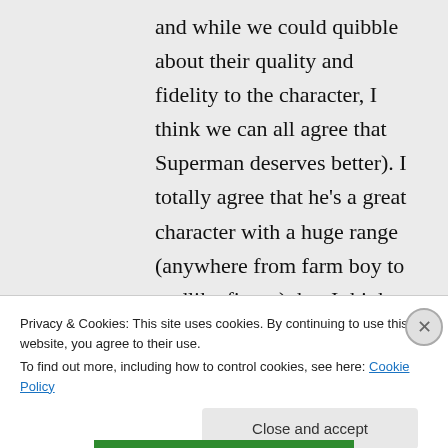and while we could quibble about their quality and fidelity to the character, I think we can all agree that Superman deserves better). I totally agree that he's a great character with a huge range (anywhere from farm boy to godlike figure), but I think he's often misused. (I should add: I don't know...
Privacy & Cookies: This site uses cookies. By continuing to use this website, you agree to their use.
To find out more, including how to control cookies, see here: Cookie Policy